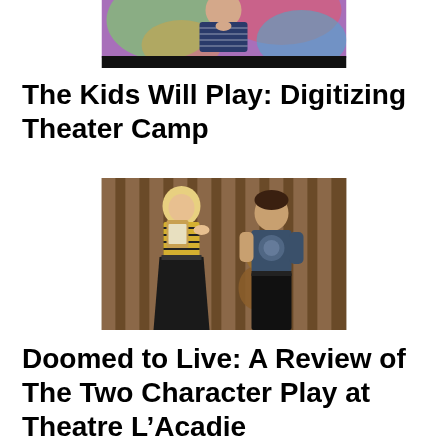[Figure (photo): Partial photo at top showing a person in a patterned top with colorful abstract background, with a black bar at the bottom of the image]
The Kids Will Play: Digitizing Theater Camp
[Figure (photo): Photo of two performers on stage — a blonde woman in a striped top and black skirt holding a clipboard, and a man in a graphic t-shirt, standing in front of striped curtains with a guitar visible in the background]
Doomed to Live: A Review of The Two Character Play at Theatre L’Acadie